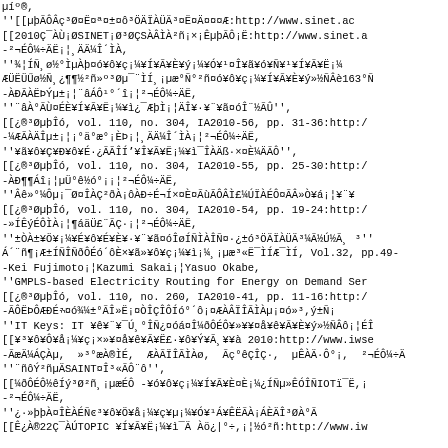Mixed Japanese/ASCII bibliography and references list with URLs and publication details from IEICE and other academic journals, including SINET references, GMPLS paper, IT Keys paper, and SAINT references.